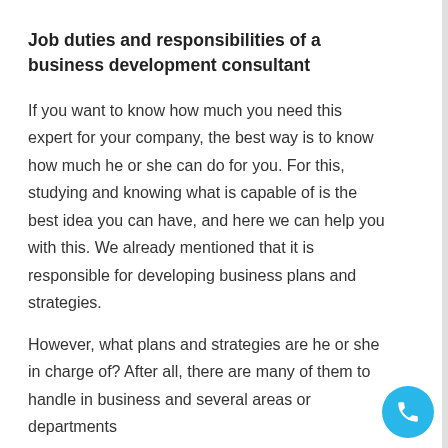Job duties and responsibilities of a business development consultant
If you want to know how much you need this expert for your company, the best way is to know how much he or she can do for you. For this, studying and knowing what is capable of is the best idea you can have, and here we can help you with this. We already mentioned that it is responsible for developing business plans and strategies.
However, what plans and strategies are he or she in charge of? After all, there are many of them to handle in business and several areas or departments